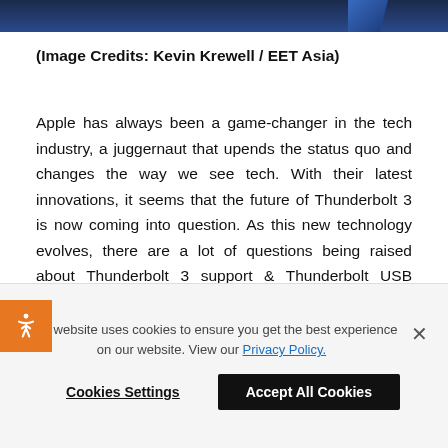[Figure (photo): Dark blue banner image at top of page, partially visible with a small diagonal accent shape on the right side.]
(Image Credits: Kevin Krewell / EET Asia)
Apple has always been a game-changer in the tech industry, a juggernaut that upends the status quo and changes the way we see tech. With their latest innovations, it seems that the future of Thunderbolt 3 is now coming into question. As this new technology evolves, there are a lot of questions being raised about Thunderbolt 3 support & Thunderbolt USB support and what that might look like in the future. Apple & Intel have successfully partnered together for many years to develop and improve the Thunderbolt technology, but that
This website uses cookies to ensure you get the best experience on our website. View our Privacy Policy.
Cookies Settings    Accept All Cookies